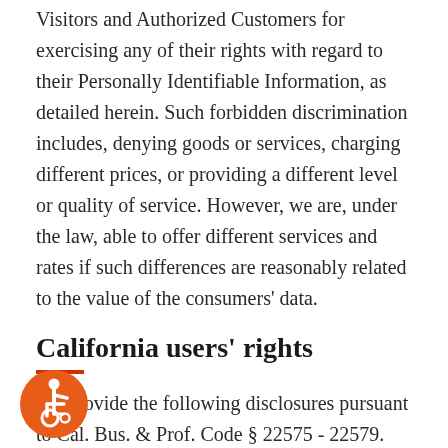Visitors and Authorized Customers for exercising any of their rights with regard to their Personally Identifiable Information, as detailed herein. Such forbidden discrimination includes, denying goods or services, charging different prices, or providing a different level or quality of service. However, we are, under the law, able to offer different services and rates if such differences are reasonably related to the value of the consumers' data.
California users' rights
We provide the following disclosures pursuant to Cal. Bus. & Prof. Code § 22575 - 22579.
We provide Visitors and Authorized Customers, including those claiming California residency, with information on how to exercise their respective disclosure options and
[Figure (illustration): Accessibility icon: orange circle with white wheelchair user symbol]